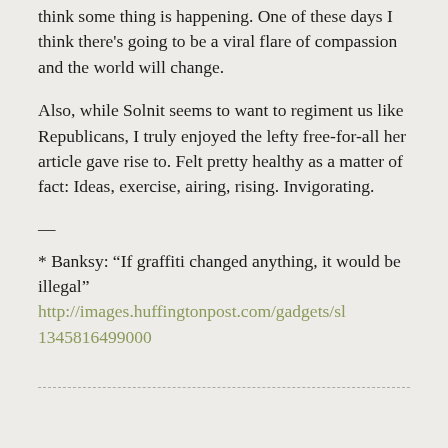think some thing is happening. One of these days I think there's going to be a viral flare of compassion and the world will change.
Also, while Solnit seems to want to regiment us like Republicans, I truly enjoyed the lefty free-for-all her article gave rise to. Felt pretty healthy as a matter of fact: Ideas, exercise, airing, rising. Invigorating.
—
* Banksy: “If graffiti changed anything, it would be illegal” http://images.huffingtonpost.com/gadgets/sl 1345816499000